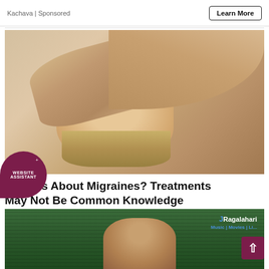Kachava | Sponsored
Learn More
[Figure (photo): Woman lying down with arm covering her eyes/forehead, suggesting a migraine headache. Photographed from above.]
Curious About Migraines? Treatments May Not Be Common Knowledge
ine Treatment | Search Ads | Sponsored
[Figure (photo): Partial view of a man's face in front of a green bamboo/striped background. Ragalahari logo visible in top right corner.]
[Figure (logo): Website Assistant chat bubble badge in dark maroon/purple color]